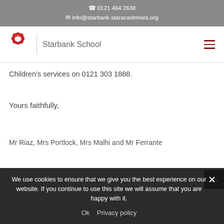0121 464 2638
info@starbank.staracademies.org
[Figure (logo): Starbank School logo: red star-shaped emblem with school name]
Children’s services on 0121 303 1888.
Yours faithfully,
Mr Riaz, Mrs Portlock, Mrs Malhi and Mr Ferrante
We use cookies to ensure that we give you the best experience on our website. If you continue to use this site we will assume that you are happy with it.
Ok   Privacy policy